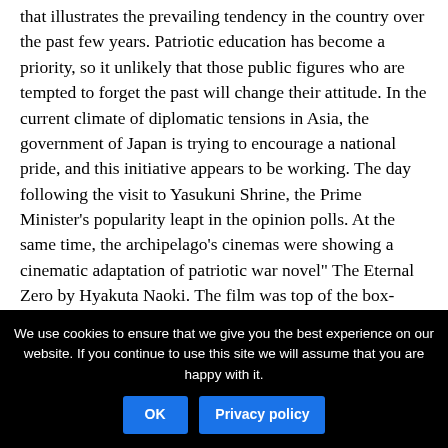that illustrates the prevailing tendency in the country over the past few years. Patriotic education has become a priority, so it unlikely that those public figures who are tempted to forget the past will change their attitude. In the current climate of diplomatic tensions in Asia, the government of Japan is trying to encourage a national pride, and this initiative appears to be working. The day following the visit to Yasukuni Shrine, the Prime Minister's popularity leapt in the opinion polls. At the same time, the archipelago's cinemas were showing a cinematic adaptation of patriotic war novel" The Eternal Zero by Hyakuta Naoki. The film was top of the box-office for eight weeks and it is still being screened, which is quite rare for a feature film released six months previously. Interest in the sacrifice and the role of kamikaze pilots is increasing. Recently, the mayor of Minami-Kyushu, a city where pilots were trained for suicide missions, suggested that the letters left by these men should be added to the Unesco World Memory Register,
We use cookies to ensure that we give you the best experience on our website. If you continue to use this site we will assume that you are happy with it.